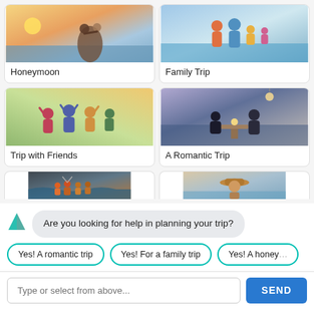[Figure (screenshot): Travel category selection UI showing cards for Honeymoon, Family Trip, Trip with Friends, A Romantic Trip, and two partially visible cards at bottom, with a chatbot overlay asking 'Are you looking for help in planning your trip?' with options 'Yes! A romantic trip', 'Yes! For a family trip', 'Yes! A honey...' and a text input with SEND button]
Honeymoon
Family Trip
Trip with Friends
A Romantic Trip
Are you looking for help in planning your trip?
Yes! A romantic trip
Yes! For a family trip
Yes! A honey
Type or select from above...
SEND